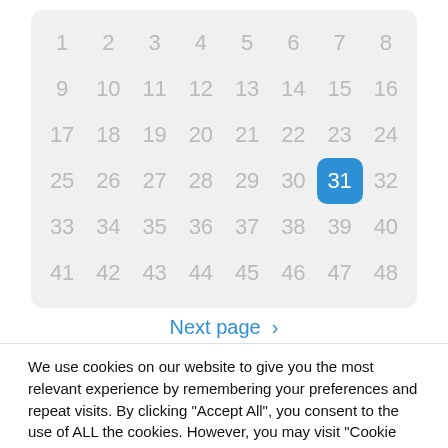[Figure (other): Calendar grid showing numbers 1-48 arranged in 6 rows of 8 columns, with number 31 highlighted in a blue rounded square.]
Next page >
We use cookies on our website to give you the most relevant experience by remembering your preferences and repeat visits. By clicking "Accept All", you consent to the use of ALL the cookies. However, you may visit "Cookie Settings" to provide a controlled consent.
Cookie Settings
Accept All